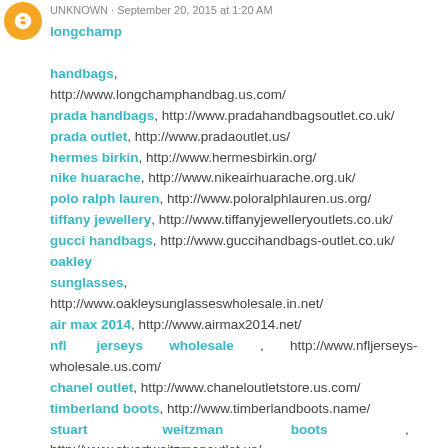UNKNOWN · September 20, 2015 at 1:20 AM
longchamp handbags, http://www.longchamphandbag.us.com/
prada handbags, http://www.pradahandbagsoutlet.co.uk/
prada outlet, http://www.pradaoutlet.us/
hermes birkin, http://www.hermesbirkin.org/
nike huarache, http://www.nikeairhuarache.org.uk/
polo ralph lauren, http://www.poloralphlauren.us.org/
tiffany jewellery, http://www.tiffanyjewelleryoutlets.co.uk/
gucci handbags, http://www.guccihandbags-outlet.co.uk/
oakley sunglasses, http://www.oakleysunglasseswholesale.in.net/
air max 2014, http://www.airmax2014.net/
nfl jerseys wholesale, http://www.nfljerseys-wholesale.us.com/
chanel outlet, http://www.chaneloutletstore.us.com/
timberland boots, http://www.timberlandboots.name/
stuart weitzman boots, http://www.stuartweitzmanoutlet.us/
vans shoes, http://www.vans-shoes.cc/
oakley sunglasses, http://www.oakleysunglassesdiscount.us.com/
hermes belt, http://www.hermesbelts.us/